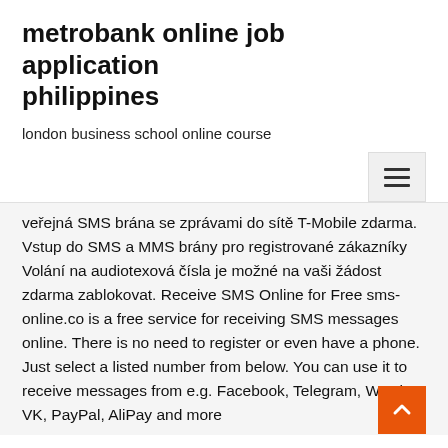metrobank online job application philippines
london business school online course
veřejná SMS brána se zprávami do sítě T-Mobile zdarma. Vstup do SMS a MMS brány pro registrované zákazníky Volání na audiotexová čísla je možné na vaši žádost zdarma zablokovat. Receive SMS Online for Free sms-online.co is a free service for receiving SMS messages online. There is no need to register or even have a phone. Just select a listed number from below. You can use it to receive messages from e.g. Facebook, Telegram, WeChat, VK, PayPal, AliPay and more
Mobile Marketing Lösungen von Magenta Business – Innovative